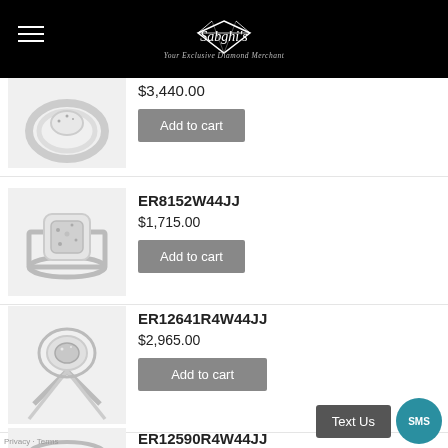Sabghi's — Your Exclusive Diamond Merchant
[Figure (photo): Diamond halo engagement ring, partial view at top]
$3,440.00
Add to cart
ER8152W44JJ
[Figure (photo): Diamond halo engagement ring on white background]
$1,715.00
Add to cart
ER12641R4W44JJ
[Figure (photo): Split shank diamond halo engagement ring]
$2,965.00
Add to cart
ER12590R4W44JJ
[Figure (photo): Partial view of another diamond engagement ring at bottom]